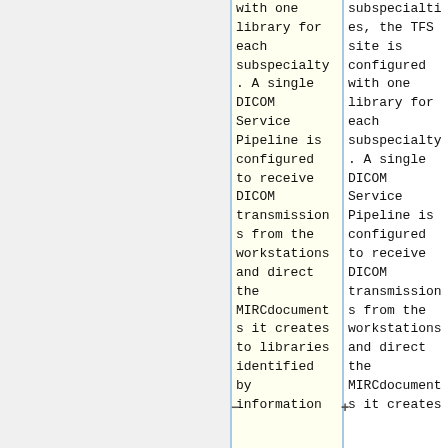with one library for each subspecialty. A single DICOM Service Pipeline is configured to receive DICOM transmissions from the workstations and direct the MIRCdocuments it creates to libraries identified by information
subspecialties, the TFS site is configured with one library for each subspecialty. A single DICOM Service Pipeline is configured to receive DICOM transmissions from the workstations and direct the MIRCdocuments it creates